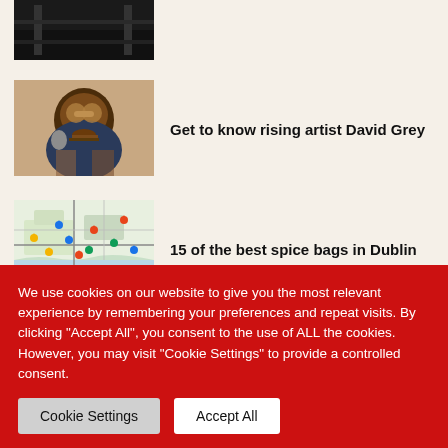[Figure (photo): Dark black and white photo of a street/alley]
[Figure (photo): Portrait of a man with sunglasses and beard]
Get to know rising artist David Grey
[Figure (map): Map of Dublin with colored location pins]
15 of the best spice bags in Dublin
We use cookies on our website to give you the most relevant experience by remembering your preferences and repeat visits. By clicking "Accept All", you consent to the use of ALL the cookies. However, you may visit "Cookie Settings" to provide a controlled consent.
Cookie Settings
Accept All